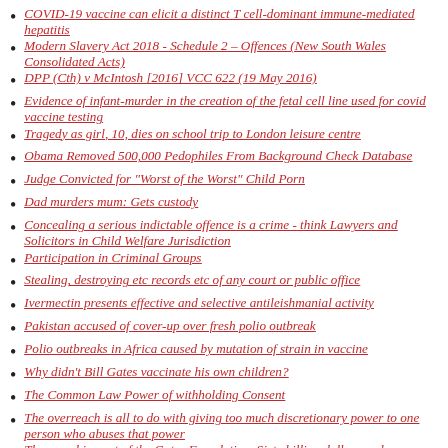COVID-19 vaccine can elicit a distinct T cell-dominant immune-mediated hepatitis
Modern Slavery Act 2018 - Schedule 2 – Offences (New South Wales Consolidated Acts)
DPP (Cth) v McIntosh [2016] VCC 622 (19 May 2016)
Evidence of infant-murder in the creation of the fetal cell line used for covid vaccine testing
Tragedy as girl, 10, dies on school trip to London leisure centre
Obama Removed 500,000 Pedophiles From Background Check Database
Judge Convicted for "Worst of the Worst" Child Porn
Dad murders mum: Gets custody
Concealing a serious indictable offence is a crime - think Lawyers and Solicitors in Child Welfare Jurisdiction
Participation in Criminal Groups
Stealing, destroying etc records etc of any court or public office
Ivermectin presents effective and selective antileishmanial activity
Pakistan accused of cover-up over fresh polio outbreak
Polio outbreaks in Africa caused by mutation of strain in vaccine
Why didn't Bill Gates vaccinate his own children?
The Common Law Power of withholding Consent
The overreach is all to do with giving too much discretionary power to one person who abuses that power
The grand impact of the Gates Foundation, Sixty billion dollars and…